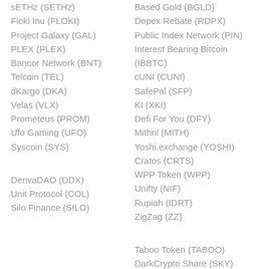sETHz (SETHz)
Floki Inu (FLOKI)
Project Galaxy (GAL)
PLEX (PLEX)
Bancor Network (BNT)
Telcoin (TEL)
dKargo (DKA)
Velas (VLX)
Prometeus (PROM)
Ufo Gaming (UFO)
Syscoin (SYS)
DerivaDAO (DDX)
Unit Protocol (COL)
Silo Finance (SILO)
Based Gold (BGLD)
Dopex Rebate (RDPX)
Public Index Network (PIN)
Interest Bearing Bitcoin (IBBTC)
cUNI (CUNI)
SafePal (SFP)
KI (XKI)
Defi For You (DFY)
Mithril (MITH)
Yoshi.exchange (YOSHI)
Cratos (CRTS)
WPP Token (WPP)
Unifty (NIF)
Rupiah (IDRT)
ZigZag (ZZ)
Taboo Token (TABOO)
DarkCrypto Share (SKY)
JET (JET)